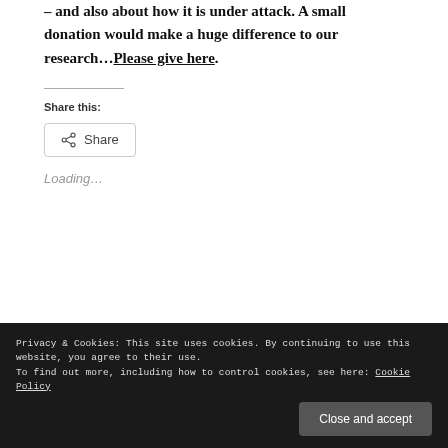– and also about how it is under attack. A small donation would make a huge difference to our research…Please give here.
Share this:
Share
Loading…
Privacy & Cookies: This site uses cookies. By continuing to use this website, you agree to their use. To find out more, including how to control cookies, see here: Cookie Policy
Close and accept